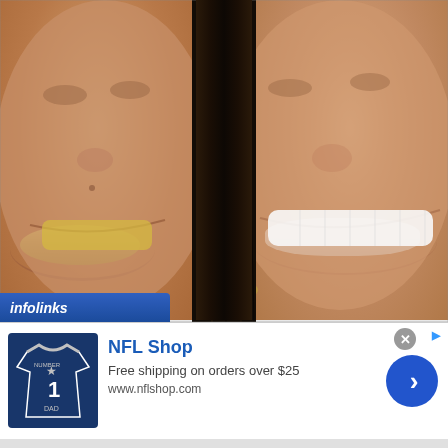[Figure (photo): Before and after dental photo comparison. Left side shows a woman with discolored and misaligned teeth (before). Right side shows the same woman with a bright white smile (after). Black hair divides the two images in the center.]
[Figure (other): Infolinks advertisement banner overlay at bottom of photo area, blue background with italic white text reading 'infolinks']
[Figure (other): NFL Shop advertisement banner. Shows a Dallas Cowboys jersey image on left, text 'NFL Shop', 'Free shipping on orders over $25', 'www.nflshop.com', a close button (x), a small arrow icon, and a blue circular call-to-action button with a right arrow.]